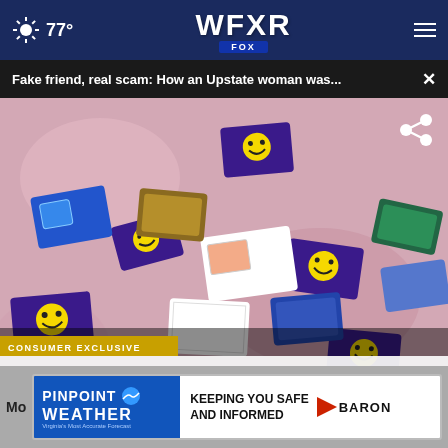77° | WFXR FOX
Fake friend, real scam: How an Upstate woman was... ×
[Figure (photo): Photo of scattered gift cards on a table showing smiley face cards and various other gift cards spread across a pink/floral tablecloth with overlaid text 'CONSUMER EXCLUSIVE' and 'FAKE FRIEND, REAL SCAM']
CONSUMER EXCLUSIVE
FAKE FRIEND, REAL SCAM
12 hours ago
12 hours ago
[Figure (infographic): Pinpoint Weather ad: PINPOINT WEATHER - Keeping You Safe And Informed - BARON]
Mo